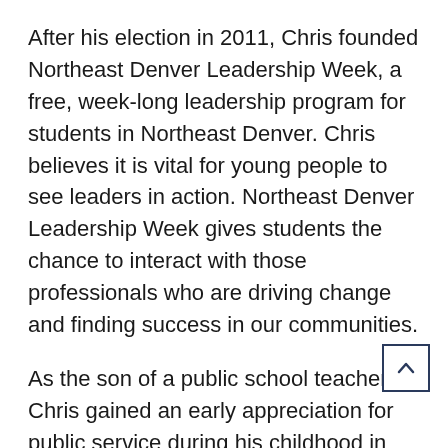After his election in 2011, Chris founded Northeast Denver Leadership Week, a free, week-long leadership program for students in Northeast Denver. Chris believes it is vital for young people to see leaders in action. Northeast Denver Leadership Week gives students the chance to interact with those professionals who are driving change and finding success in our communities.
As the son of a public school teacher, Chris gained an early appreciation for public service during his childhood in Kansas City, Mo..
“Growing up and seeing the influence my mom had over the course of her career really inspired me. I always wanted to emulate that and try to make the kind of impact she had.”